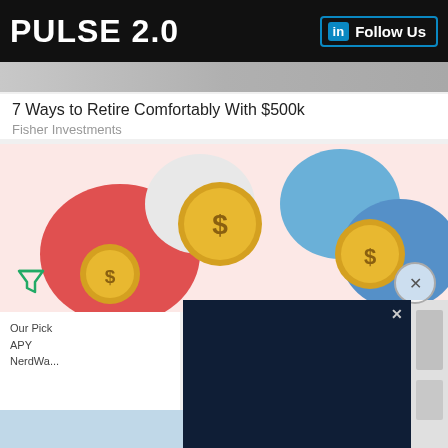PULSE 2.0 | Follow Us
7 Ways to Retire Comfortably With $500k
Fisher Investments
[Figure (illustration): Colorful illustration showing flower-shaped designs with gold dollar coins, on a pink/pastel background. Advertising imagery.]
[Figure (infographic): Disney Bundle advertisement overlay with dark navy background. Text: THE ULTIMATE STREAMING TRIO. Logos for Hulu, Disney+, ESPN+. Button: GET THE DISNEY BUNDLE. Footnote: Incl. Hulu (ad-supported) or Hulu (No Ads). Access content from each service separately. ©2021 Disney and its related entities]
Our Pick
APY
NerdWa...
Incl. Hulu (ad-supported) or Hulu (No Ads). Access content from each service separately. ©2021 Disney and its related entities